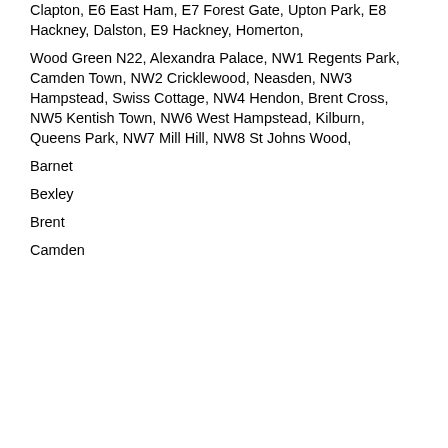Clapton, E6 East Ham, E7 Forest Gate, Upton Park, E8 Hackney, Dalston, E9 Hackney, Homerton,
Wood Green N22, Alexandra Palace, NW1 Regents Park, Camden Town, NW2 Cricklewood, Neasden, NW3 Hampstead, Swiss Cottage, NW4 Hendon, Brent Cross, NW5 Kentish Town, NW6 West Hampstead, Kilburn, Queens Park, NW7 Mill Hill, NW8 St Johns Wood,
Barnet
Bexley
Brent
Camden